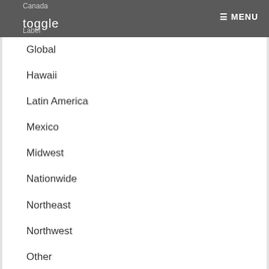toggle  MENU
Canada
Global
Hawaii
Latin America
Mexico
Midwest
Nationwide
Northeast
Northwest
Other
South America
Southeast
Southwest
West